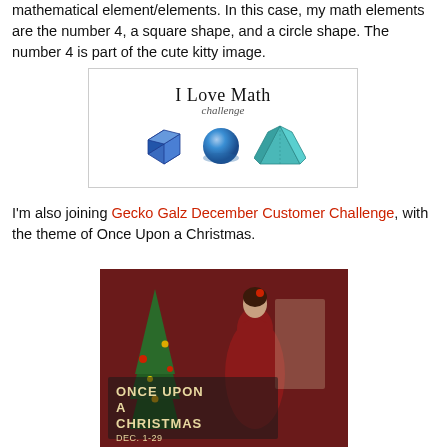mathematical element/elements. In this case, my math elements are the number 4, a square shape, and a circle shape. The number 4 is part of the cute kitty image.
[Figure (illustration): I Love Math challenge badge with a blue cube, blue sphere, and teal pyramid shapes below the title text.]
I'm also joining Gecko Galz December Customer Challenge, with the theme of Once Upon a Christmas.
[Figure (illustration): Once Upon a Christmas challenge image showing a woman in red dress near a Christmas tree with text overlay reading ONCE UPON A CHRISTMAS DEC. 1-29]